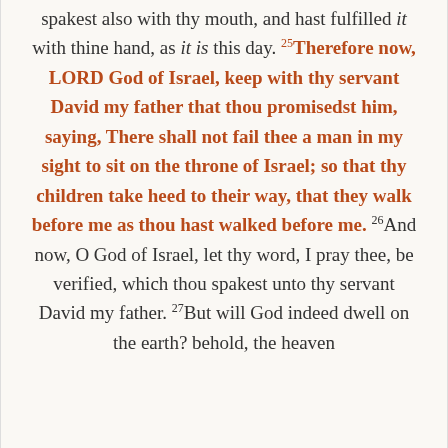spakest also with thy mouth, and hast fulfilled it with thine hand, as it is this day. 25Therefore now, LORD God of Israel, keep with thy servant David my father that thou promisedst him, saying, There shall not fail thee a man in my sight to sit on the throne of Israel; so that thy children take heed to their way, that they walk before me as thou hast walked before me. 26And now, O God of Israel, let thy word, I pray thee, be verified, which thou spakest unto thy servant David my father. 27But will God indeed dwell on the earth? behold, the heaven